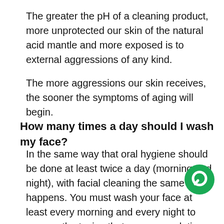The greater the pH of a cleaning product, more unprotected our skin of the natural acid mantle and more exposed is to external aggressions of any kind.
The more aggressions our skin receives, the sooner the symptoms of aging will begin.
How many times a day should I wash my face?
In the same way that oral hygiene should be done at least twice a day (morning and night), with facial cleaning the same happens. You must wash your face at least every morning and every night to remove the toxins that are accumulating during the day as well as [pollution] that accumulates in any city today.
[Figure (other): Green circular chat/message icon in the bottom right corner of the page]